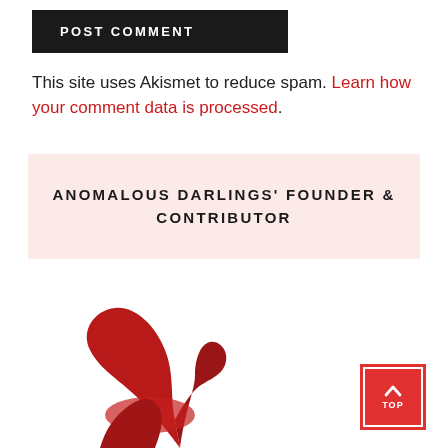POST COMMENT
This site uses Akismet to reduce spam. Learn how your comment data is processed.
ANOMALOUS DARLINGS' FOUNDER & CONTRIBUTOR
[Figure (illustration): Red illustrated figure/logo partially visible at bottom of page]
[Figure (other): Red 'TOP' button with upward chevron arrow in bottom right corner]